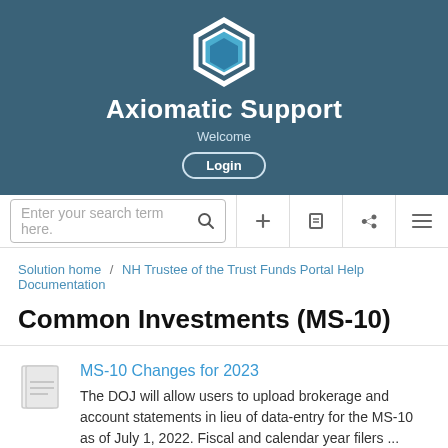[Figure (logo): Axiomatic Support logo - hexagon shape in white and blue]
Axiomatic Support
Welcome
Login
Enter your search term here.
Solution home / NH Trustee of the Trust Funds Portal Help Documentation
Common Investments (MS-10)
MS-10 Changes for 2023
The DOJ will allow users to upload brokerage and account statements in lieu of data-entry for the MS-10 as of July 1, 2022. Fiscal and calendar year filers ...
Mon, 15 Aug, 2022 at 10:24 AM